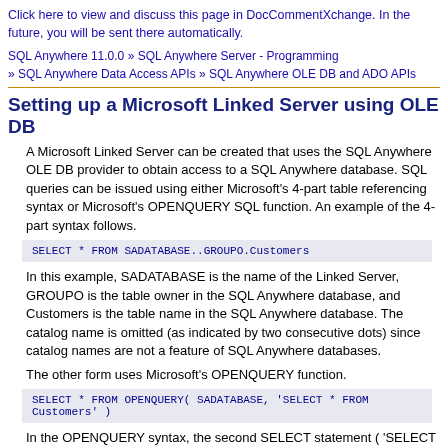Click here to view and discuss this page in DocCommentXchange. In the future, you will be sent there automatically.
SQL Anywhere 11.0.0 » SQL Anywhere Server - Programming » SQL Anywhere Data Access APIs » SQL Anywhere OLE DB and ADO APIs
Setting up a Microsoft Linked Server using OLE DB
A Microsoft Linked Server can be created that uses the SQL Anywhere OLE DB provider to obtain access to a SQL Anywhere database. SQL queries can be issued using either Microsoft's 4-part table referencing syntax or Microsoft's OPENQUERY SQL function. An example of the 4-part syntax follows.
In this example, SADATABASE is the name of the Linked Server, GROUPO is the table owner in the SQL Anywhere database, and Customers is the table name in the SQL Anywhere database. The catalog name is omitted (as indicated by two consecutive dots) since catalog names are not a feature of SQL Anywhere databases.
The other form uses Microsoft's OPENQUERY function.
In the OPENQUERY syntax, the second SELECT statement ( 'SELECT * FROM Customers' ) is passed to the SQL Anywhere server for execution.
To set up a Linked Server that uses the SQL Anywhere OLE DB provider, a few steps must be followed.